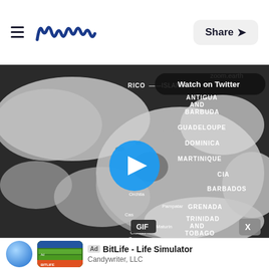Meaww — Share
[Figure (screenshot): Satellite image GIF of Caribbean hurricane/tropical storm showing Caribbean islands labeled: RICO, ISLANDS, ANTIGUA AND BARBUDA, GUADELOUPE, DOMINICA, MARTINIQUE, CIA, BARBADOS, GRENADA, TRINIDAD AND TOBAGO, Orchila, Pampatar, Cas, Maturin, Ciudad Guayana. A blue play button appears in the center. A 'Watch on Twitter' button and 'zoom.earth' watermark appear at top. A 'GIF' badge and 'X' close button appear at bottom. Source: zoom.earth]
BitLife - Life Simulator
Candywriter, LLC